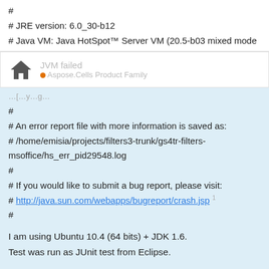#
# JRE version: 6.0_30-b12
# Java VM: Java HotSpot™ Server VM (20.5-b03 mixed mode
[Figure (screenshot): Notification overlay showing house icon, 'JVM failed' title in gray, and 'Aspose.Cells Product Family' subtitle with orange dot]
#
# An error report file with more information is saved as:
# /home/emisia/projects/filters3-trunk/gs4tr-filters-msoffice/hs_err_pid29548.log
#
# If you would like to submit a bug report, please visit:
# http://java.sun.com/webapps/bugreport/crash.jsp 1
#
I am using Ubuntu 10.4 (64 bits) + JDK 1.6.
Test was run as JUnit test from Eclipse.
Can someone tell me why this happening?
Thanks,
Zeliko
1 / 14